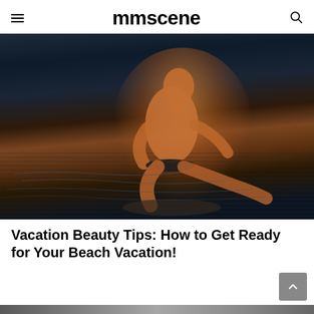mmscene
[Figure (photo): A young athletic man in dark swim briefs kneeling in shallow water near rocks, photographed at golden hour with warm orange light on his body against a dark moody water background]
Vacation Beauty Tips: How to Get Ready for Your Beach Vacation!